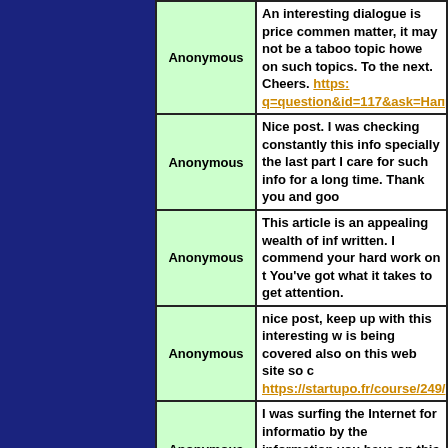| Author | Comment |
| --- | --- |
| Anonymous | An interesting dialogue is price commen matter, it may not be a taboo topic howe on such topics. To the next. Cheers. https://... q=question&id=117&ask=Напрвa_нa... |
| Anonymous | Nice post. I was checking constantly this info specially the last part I care for such info for a long time. Thank you and goo... |
| Anonymous | This article is an appealing wealth of inf written. I commend your hard work on t You've got what it takes to get attention. |
| Anonymous | nice post, keep up with this interesting w is being covered also on this web site so c https://startupo.fr/course/249/ |
| Anonymous | I was surfing the Internet for informatio by the information you have on this blog subject. juniper hill condo |
| Anonymous | Good post but I was wondering if you co very thankful if you could elaborate a lit for sale online |
| Anonymous | Pretty nice post. I just stumbled upon yo really enjoyed browsing your blog posts. I hope you write again soon! www.shaya... |
| Anonymous | Thank you so much for sharing this grea you continue to share more of your ideas... |